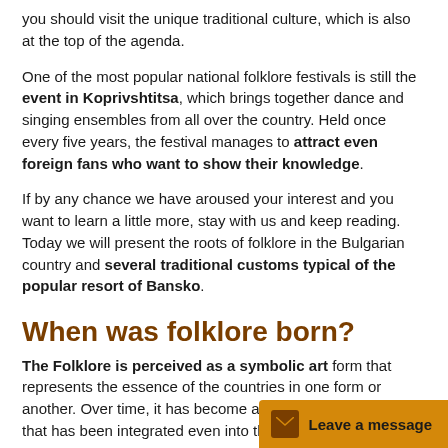you should visit the unique traditional culture, which is also at the top of the agenda.
One of the most popular national folklore festivals is still the event in Koprivshtitsa, which brings together dance and singing ensembles from all over the country. Held once every five years, the festival manages to attract even foreign fans who want to show their knowledge.
If by any chance we have aroused your interest and you want to learn a little more, stay with us and keep reading. Today we will present the roots of folklore in the Bulgarian country and several traditional customs typical of the popular resort of Bansko.
When was folklore born?
The Folklore is perceived as a symbolic art form that represents the essence of the countries in one form or another. Over time, it has become a recognizable element that has been integrated even into the national hol...